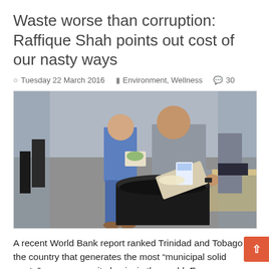Waste worse than corruption: Raffique Shah points out cost of our nasty ways
Tuesday 22 March 2016   Environment, Wellness   30
[Figure (photo): Person dumping food waste tray into a large black garbage bin in a cafeteria or food court setting. Another person carrying food in the background.]
A recent World Bank report ranked Trinidad and Tobago as the country that generates the most “municipal solid waste”, on a per capita basis, in the world. Every man, woman and child in this country, on average, every day, generates—according to the World Bank data—a mind-boggling 14.4 kilograms of garbage.